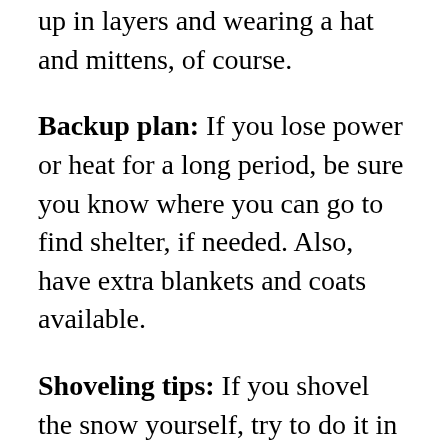up in layers and wearing a hat and mittens, of course.
Backup plan: If you lose power or heat for a long period, be sure you know where you can go to find shelter, if needed. Also, have extra blankets and coats available.
Shoveling tips: If you shovel the snow yourself, try to do it in shifts--every few hours and, if possible, switching with other people. Focus on proper technique: Use you leg muscles as much as possible by squatting down and keeping your back stable and straight. Don't twist when you throw the snow. And keep one hand lower to the shovel to maintain leverage. Push the snow, rather than lift it, when possible. Also, stay hydrated. Don't drink alcohol to